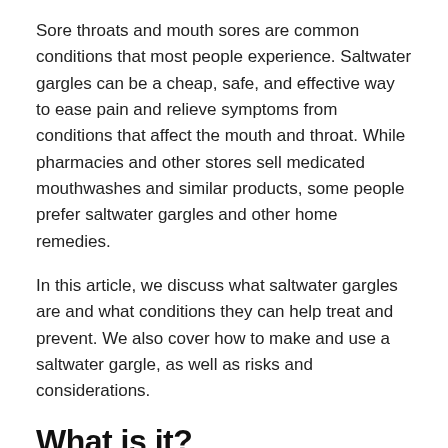Sore throats and mouth sores are common conditions that most people experience. Saltwater gargles can be a cheap, safe, and effective way to ease pain and relieve symptoms from conditions that affect the mouth and throat. While pharmacies and other stores sell medicated mouthwashes and similar products, some people prefer saltwater gargles and other home remedies.
In this article, we discuss what saltwater gargles are and what conditions they can help treat and prevent. We also cover how to make and use a saltwater gargle, as well as risks and considerations.
What is it?
[Figure (photo): Natural salt gargle mouthwash rinse — broken/placeholder image icon with label text]
A saltwater gargle is a mixture of salt, water, and baking soda